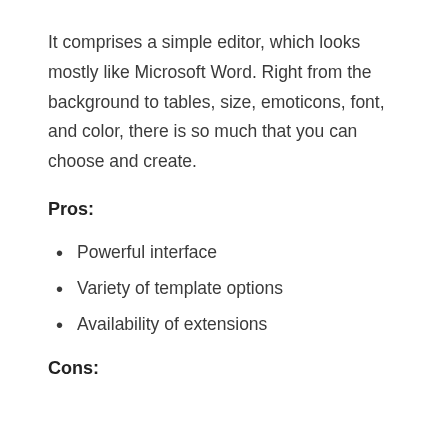It comprises a simple editor, which looks mostly like Microsoft Word. Right from the background to tables, size, emoticons, font, and color, there is so much that you can choose and create.
Pros:
Powerful interface
Variety of template options
Availability of extensions
Cons: